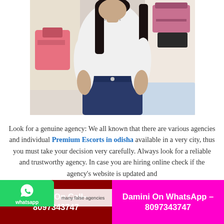[Figure (photo): Photo of a young woman in a white sleeveless top with decorative pattern and blue jeans, seated indoors with a pink bag and luggage visible in background]
Look for a genuine agency: We all known that there are various agencies and individual Premium Escorts in odisha available in a very city, thus you must take your decision very carefully. Always look for a reliable and trustworthy agency. In case you are hiring online check if the agency's website is updated and
Damini On Call– 8097343747 | Damini On WhatsApp – 8097343747